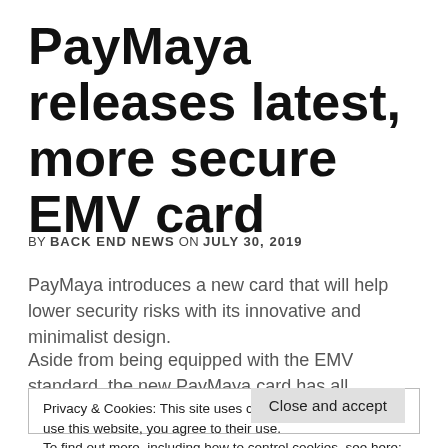PayMaya releases latest, more secure EMV card
BY BACK END NEWS ON JULY 30, 2019
PayMaya introduces a new card that will help lower security risks with its innovative and minimalist design.
Aside from being equipped with the EMV standard, the new PayMaya card has all personal information of the cardholder
Privacy & Cookies: This site uses cookies. By continuing to use this website, you agree to their use.
To find out more, including how to control cookies, see here: Cookie Policy